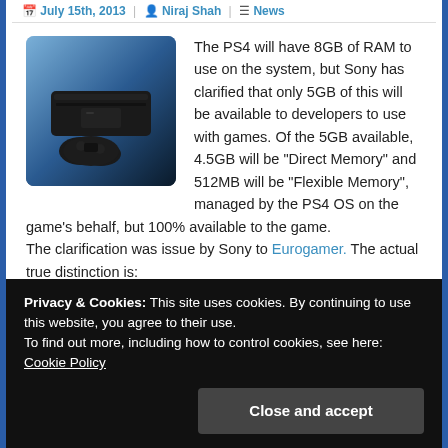July 15th, 2013 | Niraj Shah | News
[Figure (photo): PS4 console and controller on blue background]
The PS4 will have 8GB of RAM to use on the system, but Sony has clarified that only 5GB of this will be available to developers to use with games. Of the 5GB available, 4.5GB will be "Direct Memory" and 512MB will be "Flexible Memory", managed by the PS4 OS on the game's behalf, but 100% available to the game.
The clarification was issue by Sony to Eurogamer. The actual true distinction is:
“Direct Memory” is memory allocated under the traditional video game model, so the game controls
the game’s memory, and is never used by the OS,
Privacy & Cookies: This site uses cookies. By continuing to use this website, you agree to their use.
To find out more, including how to control cookies, see here: Cookie Policy
Close and accept